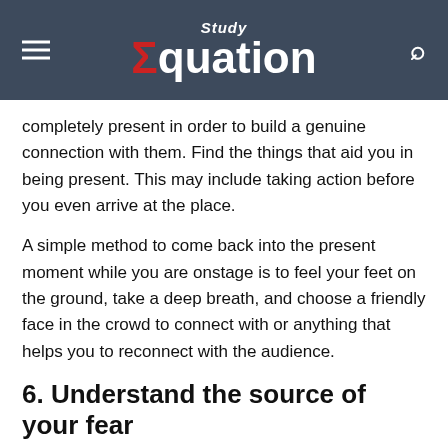Study Equation
completely present in order to build a genuine connection with them. Find the things that aid you in being present. This may include taking action before you even arrive at the place.
A simple method to come back into the present moment while you are onstage is to feel your feet on the ground, take a deep breath, and choose a friendly face in the crowd to connect with or anything that helps you to reconnect with the audience.
6. Understand the source of your fear
By understanding the root cause of your fear of public speaking, you can overcome it and move forward with your life. It's never too late to start developing your confidence